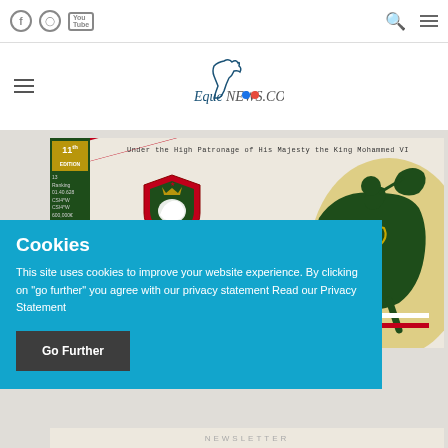EqueNews.com website top navigation with social icons, search and menu
[Figure (logo): EqueNews.com logo with horse silhouette and colored dots]
[Figure (photo): Morocco Royal Tour 11th Edition event poster. Under the High Patronage of His Majesty the King Mohammed VI. Features shield emblem, horse and rider illustration. Text: INTERNATIONAL]
Cookies
This site uses cookies to improve your website experience. By clicking on "go further" you agree with our privacy statement Read our Privacy Statement
Go Further
NEWSLETTER